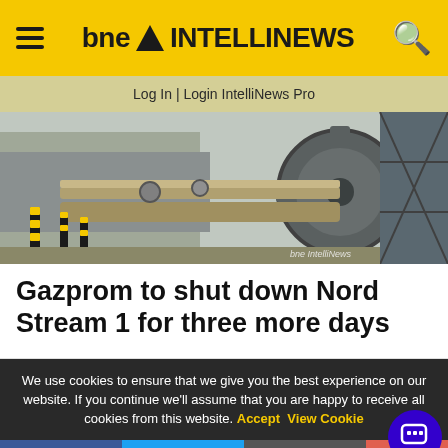bne INTELLINEWS
Log In | Login IntelliNews Pro
[Figure (photo): Industrial gas pipeline infrastructure with yellow and black bollards and large mechanical equipment; bne IntelliNews watermark]
Gazprom to shut down Nord Stream 1 for three more days
We use cookies to ensure that we give you the best experience on our website. If you continue we'll assume that you are happy to receive all cookies from this website. Accept  View Cookie
Social share bar: Facebook, Twitter, Email, Reddit